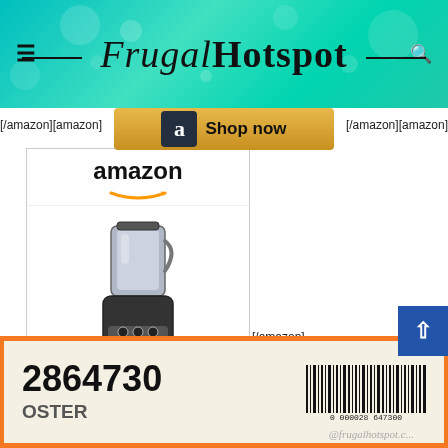[Figure (screenshot): FrugalHotspot website header with teal/mint bokeh background, hamburger menu icon on left, search icon on right, and site logo 'Frugal Hotspot' in center with decorative horizontal lines]
[Figure (screenshot): Amazon 'Shop now' button with golden/yellow background and Amazon 'a' logo icon]
[/amazon][amazon]
[/amazon][amazon]
[Figure (screenshot): Amazon product card showing Vitamix 5300 Blender in Black, priced at $404.99, with Amazon logo, product image, product title in blue, price, and Shop now button]
[/amazon]
[Figure (photo): Bottom portion of a product (Oster) box with orange border showing item number 2864730, a barcode with number 0 000028 647300, and partial text 'OSTER' and frugalhotspot.com watermark]